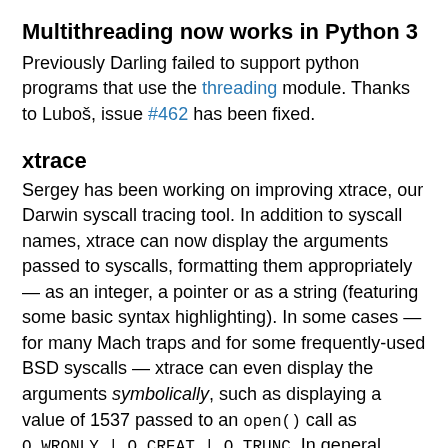Multithreading now works in Python 3
Previously Darling failed to support python programs that use the threading module. Thanks to Luboš, issue #462 has been fixed.
xtrace
Sergey has been working on improving xtrace, our Darwin syscall tracing tool. In addition to syscall names, xtrace can now display the arguments passed to syscalls, formatting them appropriately — as an integer, a pointer or as a string (featuring some basic syntax highlighting). In some cases — for many Mach traps and for some frequently-used BSD syscalls — xtrace can even display the arguments symbolically, such as displaying a value of 1537 passed to an open() call as O_WRONLY | O_CREAT | O_TRUNC. In general, xtrace is now mostly on par with, and in some aspects, better than the dtruss tool available on macOS.
The coolest new xtrace feature is support for parsing and displaying MIG routine calls. Whenever the traced process sends or receives a Mach message, xtrace prints a short description about the message, such as its destination and